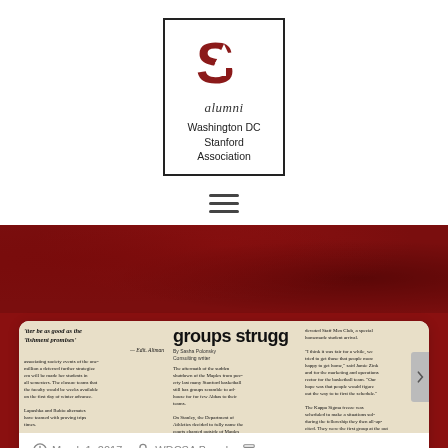[Figure (logo): Stanford Alumni Washington DC Stanford Association logo with a Stanford S and tree icon inside a bordered box]
[Figure (other): Hamburger menu icon (three horizontal lines)]
[Figure (photo): Newspaper clipping showing headline 'groups strugg...' with columns of newspaper text]
March 1, 2017
WDCSA Board
Newsletter